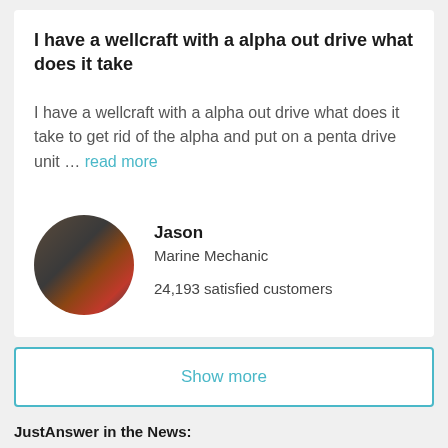I have a wellcraft with a alpha out drive what does it take
I have a wellcraft with a alpha out drive what does it take to get rid of the alpha and put on a penta drive unit … read more
Jason
Marine Mechanic
24,193 satisfied customers
Show more
JustAnswer in the News: